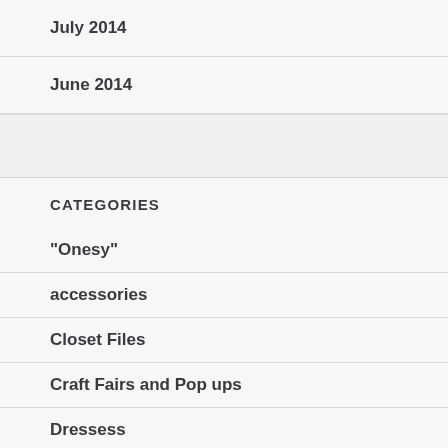July 2014
June 2014
CATEGORIES
"Onesy"
accessories
Closet Files
Craft Fairs and Pop ups
Dressess